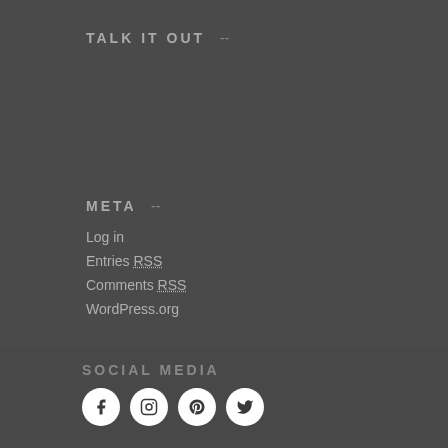TALK IT OUT  --
META  --
Log in
Entries RSS
Comments RSS
WordPress.org
SOCIAL MEDIA
[Figure (illustration): Four social media icons in white circles: Facebook, Instagram, Pinterest, Twitter]